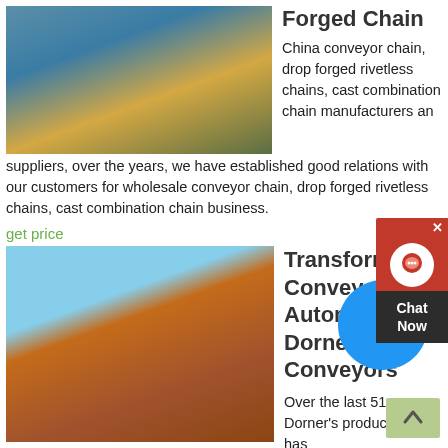[Figure (photo): Industrial conveyor or processing facility with blue metal structures and yellow/orange equipment]
Forged Chain
China conveyor chain, drop forged rivetless chains, cast combination chain manufacturers and suppliers, over the years, we have established good relations with our customers for wholesale conveyor chain, drop forged rivetless chains, cast combination chain business.
get price
[Figure (photo): Industrial mining or crushing facility with large orange machinery and equipment on red dirt ground]
Transforming Conveyor Automation Dorner Conveyors
Over the last 51 years, Dorner's product line has evolved from a single, low profile metalworking conveyor to a